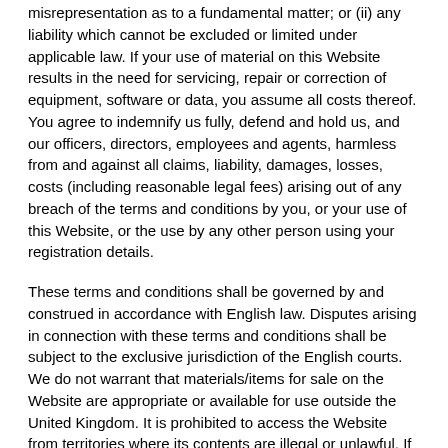misrepresentation as to a fundamental matter; or (ii) any liability which cannot be excluded or limited under applicable law. If your use of material on this Website results in the need for servicing, repair or correction of equipment, software or data, you assume all costs thereof. You agree to indemnify us fully, defend and hold us, and our officers, directors, employees and agents, harmless from and against all claims, liability, damages, losses, costs (including reasonable legal fees) arising out of any breach of the terms and conditions by you, or your use of this Website, or the use by any other person using your registration details.
These terms and conditions shall be governed by and construed in accordance with English law. Disputes arising in connection with these terms and conditions shall be subject to the exclusive jurisdiction of the English courts. We do not warrant that materials/items for sale on the Website are appropriate or available for use outside the United Kingdom. It is prohibited to access the Website from territories where its contents are illegal or unlawful. If you access this Website from locations outside the United Kingdom, you do so at your own risk and you are responsible for compliance with local laws.